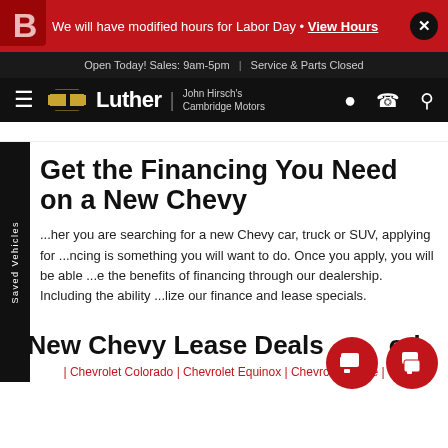We will have modified hours for Labor Day · View Hours
Open Today! Sales: 9am-5pm | Service & Parts Closed
Luther | John Hirsch's Cambridge Motors
Get the Financing You Need on a New Chevy
...her you are searching for a new Chevy car, truck or SUV, applying for ...ncing is something you will want to do. Once you apply, you will be able ...e the benefits of financing through our dealership. Including the ability ...lize our finance and lease specials.
New Chevy Lease Deals ...od...
| Chevrolet Colorado | Chevrolet Equinox | Chevrolet Tahoe |